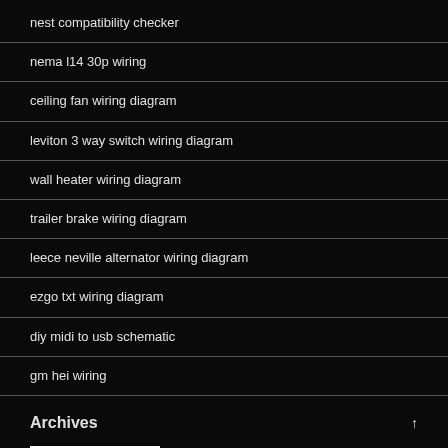nest compatibility checker
nema l14 30p wiring
ceiling fan wiring diagram
leviton 3 way switch wiring diagram
wall heater wiring diagram
trailer brake wiring diagram
leece neville alternator wiring diagram
ezgo txt wiring diagram
diy midi to usb schematic
gm hei wiring
Archives ↑
[Figure (other): White input box (archives widget/dropdown)]